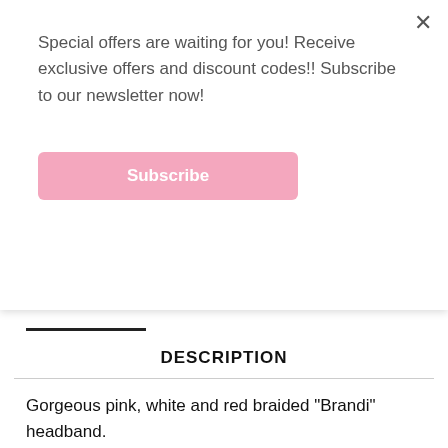Special offers are waiting for you! Receive exclusive offers and discount codes!! Subscribe to our newsletter now!
Subscribe
DESCRIPTION
Gorgeous pink, white and red braided "Brandi" headband.
Perfect for Flower Girls, Any Special Occasions, Photo Shoots, and a beautiful accessory for everyday wear!
Sizing Options: